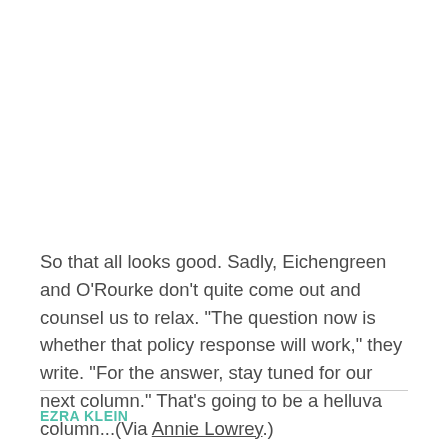So that all looks good. Sadly, Eichengreen and O'Rourke don't quite come out and counsel us to relax. "The question now is whether that policy response will work," they write. "For the answer, stay tuned for our next column." That's going to be a helluva column...(Via Annie Lowrey.)
EZRA KLEIN